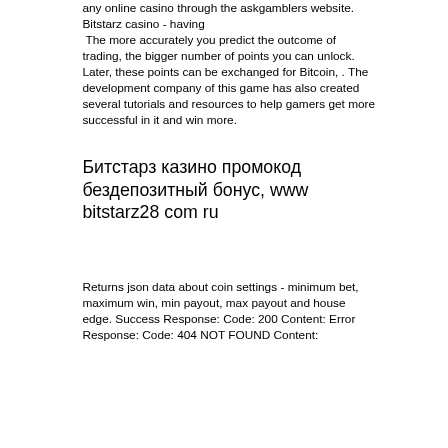any online casino through the askgamblers website. Bitstarz casino - having The more accurately you predict the outcome of trading, the bigger number of points you can unlock. Later, these points can be exchanged for Bitcoin, . The development company of this game has also created several tutorials and resources to help gamers get more successful in it and win more.
Битстарз казино промокод бездепозитный бонус, www bitstarz28 com ru
Returns json data about coin settings - minimum bet, maximum win, min payout, max payout and house edge. Success Response: Code: 200 Content: Error Response: Code: 404 NOT FOUND Content: